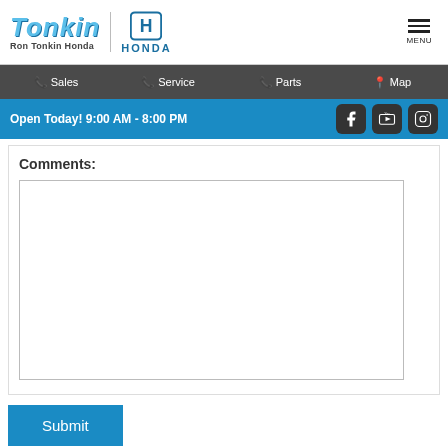Tonkin Ron Tonkin Honda | Honda | MENU
Sales | Service | Parts | Map
Open Today! 9:00 AM - 8:00 PM
Comments:
Submit